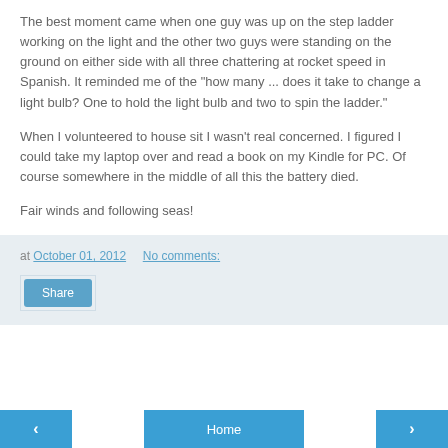The best moment came when one guy was up on the step ladder working on the light and the other two guys were standing on the ground on either side with all three chattering at rocket speed in Spanish. It reminded me of the "how many ... does it take to change a light bulb? One to hold the light bulb and two to spin the ladder."
When I volunteered to house sit I wasn't real concerned. I figured I could take my laptop over and read a book on my Kindle for PC. Of course somewhere in the middle of all this the battery died.
Fair winds and following seas!
at October 01, 2012    No comments:
Share
‹   Home   ›